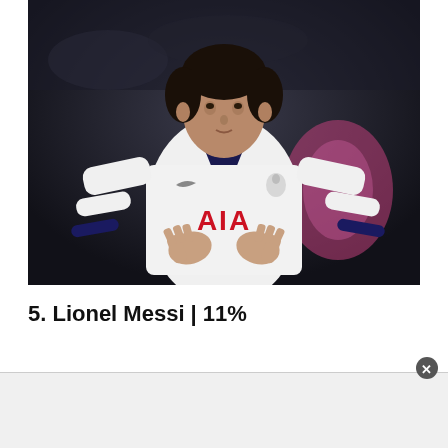[Figure (photo): A football player wearing a white Tottenham Hotspur long-sleeve jersey with 'AIA' in red letters on the front and a Nike swoosh, applauding with hands together. Dark blurred stadium background with a pink/magenta goalkeeper jersey blurred in the background.]
5. Lionel Messi | 11%
[Figure (other): Advertisement banner area at the bottom of the page, light grey background with a close/dismiss button (X) in the top right corner.]